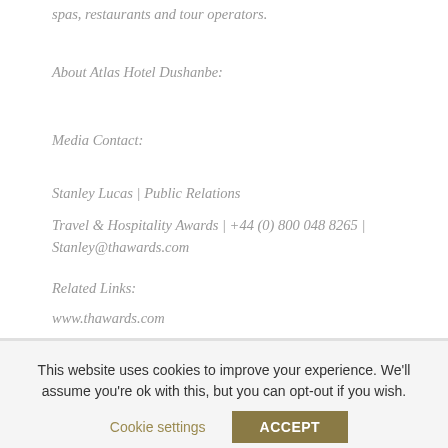spas, restaurants and tour operators.
About Atlas Hotel Dushanbe:
Media Contact:
Stanley Lucas | Public Relations
Travel & Hospitality Awards | +44 (0) 800 048 8265 | Stanley@thawards.com
Related Links:
www.thawards.com
This website uses cookies to improve your experience. We'll assume you're ok with this, but you can opt-out if you wish.